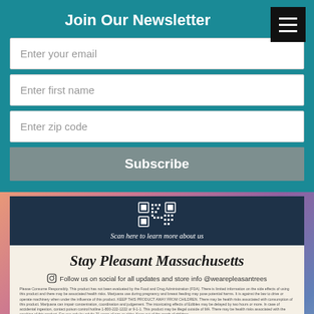Join Our Newsletter
Enter your email
Enter first name
Enter zip code
Subscribe
[Figure (other): QR code with text 'Scan here to learn more about us' on dark teal background with geometric arrow pattern]
Stay Pleasant Massachusetts
Follow us on social for all updates and store info @wearepleasantrees
Please Consume Responsibly. This product has not been evaluated by the Food and Drug Administration (FDA). There is limited information on the side effects of using this product and there may be associated health risks. Marijuana use during pregnancy and breast feeding may pose potential harms. It is against the law to drive or operate machinery when under the influence of this product. KEEP THIS PRODUCT AWAY FROM CHILDREN. There may be health risks associated with consumption of this product. Marijuana can impair concentration, coordination and judgement. The intoxicating effects of Edibles may be delayed by two hours or more. In case of accidental ingestion, contact poison control hotline 1-800-222-1222 or 9-1-1. This product may be illegal outside of MA. There may be health risks associated with the smoking of this product. For use only by adults 21 years of age or older. Keep out of the reach of children.
Eastern Bank is committed to standing with the LGBTQIA+ community and showing our pride